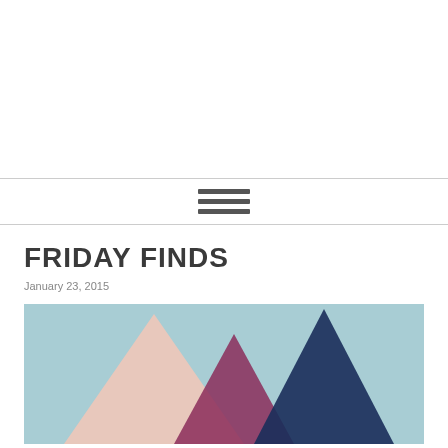FRIDAY FINDS
January 23, 2015
[Figure (illustration): Decorative illustration showing three mountain/triangle shapes in pink, burgundy, and dark navy blue on a light teal/blue background]